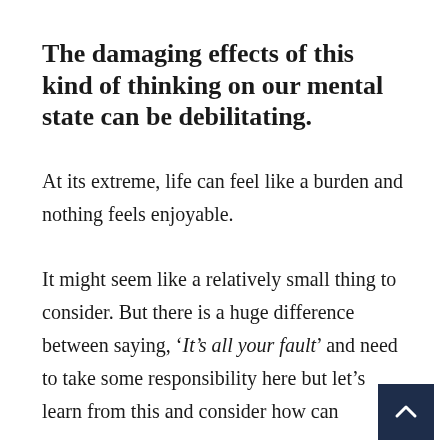The damaging effects of this kind of thinking on our mental state can be debilitating.
At its extreme, life can feel like a burden and nothing feels enjoyable.
It might seem like a relatively small thing to consider. But there is a huge difference between saying, '‘It’s all your fault’ and need to take some responsibility here but let’s learn from this and consider how can